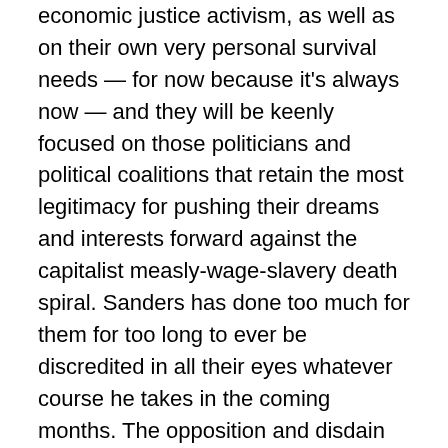economic justice activism, as well as on their own very personal survival needs — for now because it's always now — and they will be keenly focused on those politicians and political coalitions that retain the most legitimacy for pushing their dreams and interests forward against the capitalist measly-wage-slavery death spiral. Sanders has done too much for them for too long to ever be discredited in all their eyes whatever course he takes in the coming months. The opposition and disdain Sanders has received from all sides only reinforces his credibility as the leading champion of the dreams of the people of THE FUTURE.
Everybody knows that any frustration of the Sanders' candidacy by the DP politburo will be blamed on Sanders by the DNC Dems and their allied corporate media, as well